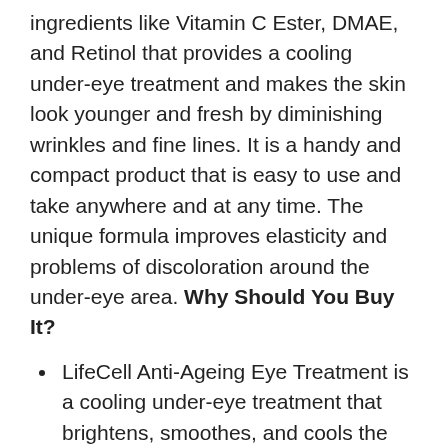ingredients like Vitamin C Ester, DMAE, and Retinol that provides a cooling under-eye treatment and makes the skin look younger and fresh by diminishing wrinkles and fine lines. It is a handy and compact product that is easy to use and take anywhere and at any time. The unique formula improves elasticity and problems of discoloration around the under-eye area. Why Should You Buy It?
LifeCell Anti-Ageing Eye Treatment is a cooling under-eye treatment that brightens, smoothes, and cools the skin.
It reduces puffiness and redness around the under-eye area.
Each product of LifeCell promises an age-reversing effect through a nature-based